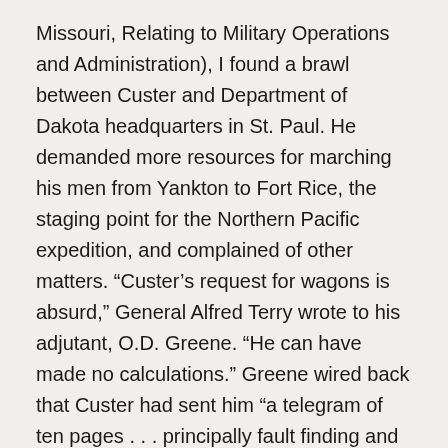Missouri, Relating to Military Operations and Administration), I found a brawl between Custer and Department of Dakota headquarters in St. Paul. He demanded more resources for marching his men from Yankton to Fort Rice, the staging point for the Northern Pacific expedition, and complained of other matters. “Custer’s request for wagons is absurd,” General Alfred Terry wrote to his adjutant, O.D. Greene. “He can have made no calculations.” Greene wired back that Custer had sent him “a telegram of ten pages . . . principally fault finding and making unnecessary difficulties in regard to the march. . . . I report it extremely difficult to get along with the present Commander [i.e., Custer].”
Interestingly, another officer investigated and largely backed Custer. But Custer’s reputation within the Army was so bad that his superiors assumed the worst about him. This otherwise pointless squabble tells us